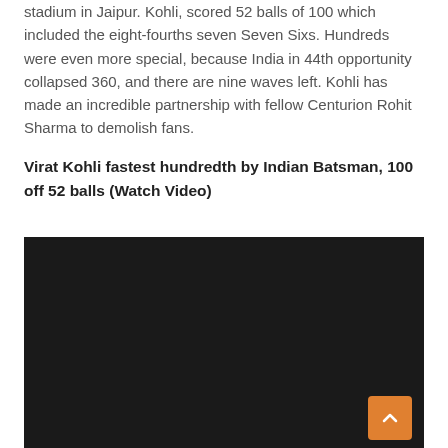stadium in Jaipur. Kohli, scored 52 balls of 100 which included the eight-fourths seven Seven Sixs. Hundreds were even more special, because India in 44th opportunity collapsed 360, and there are nine waves left. Kohli has made an incredible partnership with fellow Centurion Rohit Sharma to demolish fans.
Virat Kohli fastest hundredth by Indian Batsman, 100 off 52 balls (Watch Video)
[Figure (other): Embedded video player with dark/black background]